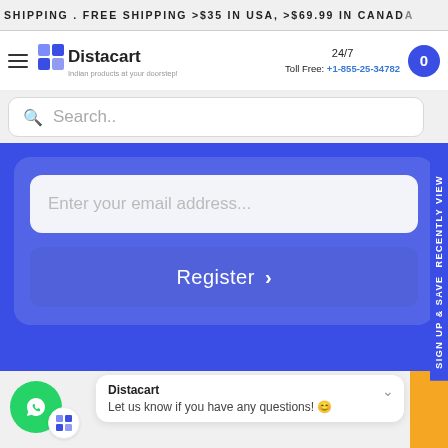SHIPPING . FREE SHIPPING >$35 IN USA, >$69.99 IN CANADA
[Figure (logo): Distacart logo with hamburger menu, 24/7 Toll Free +1-855-25-34782, and cart button]
Search..
Enter your email address...
Register >
sign up & save RECENTLY VIEW
Distacart
Let us know if you have any questions! 😊